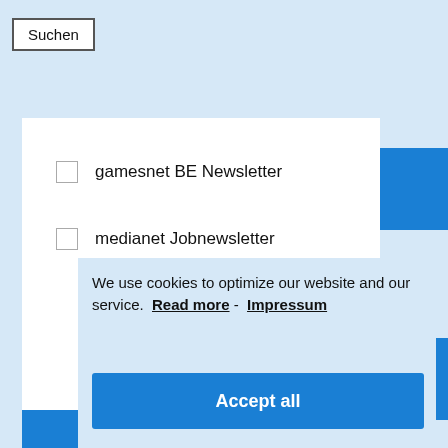Suchen
gamesnet BE Newsletter
medianet Jobnewsletter
We use cookies to optimize our website and our service.  Read more -  Impressum
Accept all
Functional only
View preferences
Subscribe